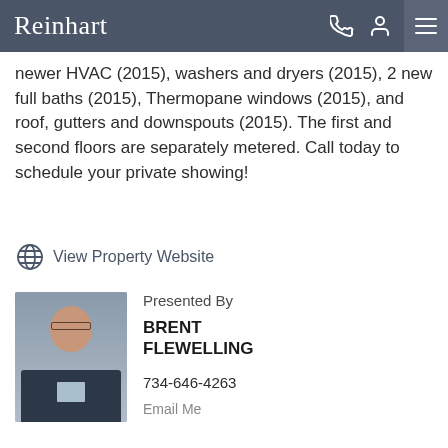Reinhart
newer HVAC (2015), washers and dryers (2015), 2 new full baths (2015), Thermopane windows (2015), and roof, gutters and downspouts (2015). The first and second floors are separately metered. Call today to schedule your private showing!
View Property Website
Presented By
[Figure (photo): Headshot of Brent Flewelling, a man in a dark suit with glasses, smiling]
BRENT FLEWELLING
734-646-4263
Email Me